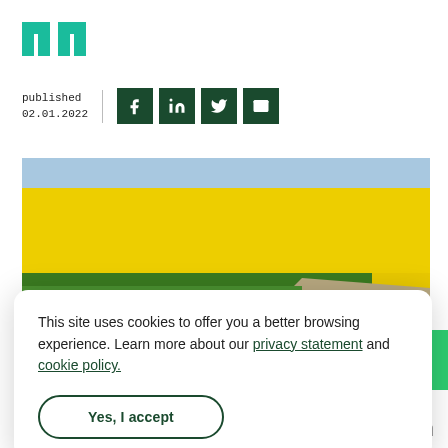[Figure (logo): NI logo in teal/green, two letter shapes resembling 'ni']
published
02.01.2022
[Figure (infographic): Social sharing icons: Facebook (f), LinkedIn (in), Twitter bird, Email envelope — all on dark green square backgrounds]
[Figure (photo): Aerial or roadside photo of a yellow rapeseed/canola field in bloom with a road and a white car visible in the lower right corner]
This site uses cookies to offer you a better browsing experience. Learn more about our privacy statement and cookie policy.
Yes, I accept